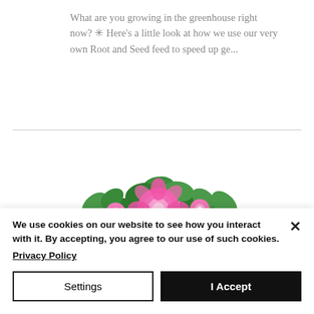What are you growing in the greenhouse right now? ✳ Here's a little look at how we use our very own Root and Seed feed to speed up ge...
[Figure (illustration): Illustration of a pink flower box labeled 'Mary & June's' with pink roses and green leaves arranged on top]
We use cookies on our website to see how you interact with it. By accepting, you agree to our use of such cookies.
Privacy Policy
Settings
I Accept